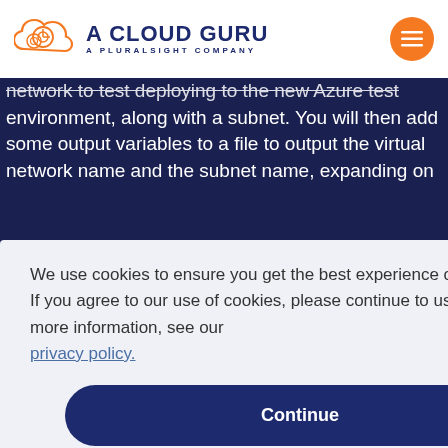[Figure (logo): A Cloud Guru logo - cloud icon in orange outline with 'A CLOUD GURU' and 'A PLURALSIGHT COMPANY' text in dark blue]
network to test deploying to the new Azure test environment, along with a subnet. You will then add some output variables to a file to output the virtual network name and the subnet name, expanding on
at you e you r test
We use cookies to ensure you get the best experience on our website. If you agree to our use of cookies, please continue to use our site. For more information, see our privacy policy.
Continue